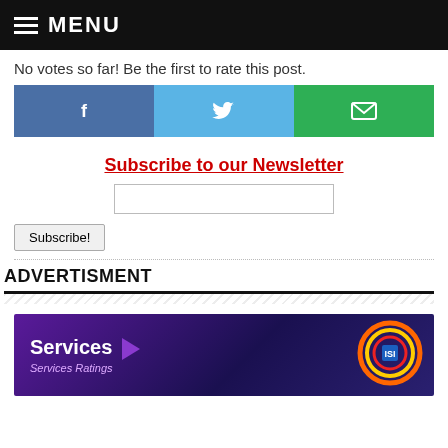MENU
No votes so far! Be the first to rate this post.
[Figure (infographic): Social share buttons: Facebook (blue), Twitter (light blue), Email (green), each with respective icons]
Subscribe to our Newsletter
Subscribe!
ADVERTISMENT
[Figure (photo): Advertisement banner with purple/dark background showing 'Services' text with arrow and a circular logo on the right]